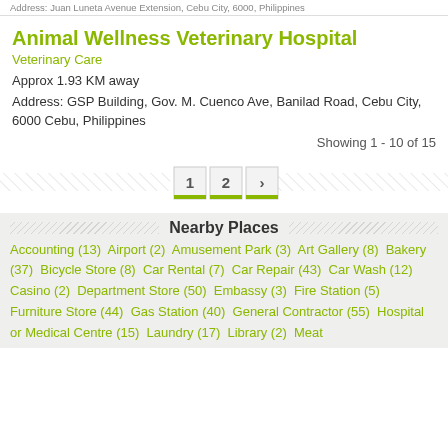Address: Juan Luneta Avenue Extension, Cebu City, 6000, Philippines
Animal Wellness Veterinary Hospital
Veterinary Care
Approx 1.93 KM away
Address: GSP Building, Gov. M. Cuenco Ave, Banilad Road, Cebu City, 6000 Cebu, Philippines
Showing 1 - 10 of 15
[Figure (other): Pagination controls showing page buttons 1, 2, and a next arrow, with hatched decorative lines on each side]
Nearby Places
Accounting (13)  Airport (2)  Amusement Park (3)  Art Gallery (8)  Bakery (37)  Bicycle Store (8)  Car Rental (7)  Car Repair (43)  Car Wash (12)  Casino (2)  Department Store (50)  Embassy (3)  Fire Station (5)  Furniture Store (44)  Gas Station (40)  General Contractor (55)  Hospital or Medical Centre (15)  Laundry (17)  Library (2)  Meat